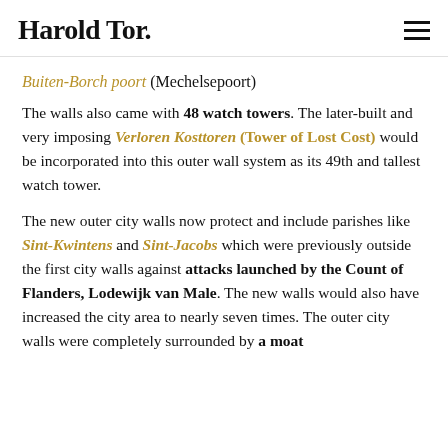Harold Tor.
Buiten-Borch poort (Mechelsepoort)
The walls also came with 48 watch towers. The later-built and very imposing Verloren Kosttoren (Tower of Lost Cost) would be incorporated into this outer wall system as its 49th and tallest watch tower.
The new outer city walls now protect and include parishes like Sint-Kwintens and Sint-Jacobs which were previously outside the first city walls against attacks launched by the Count of Flanders, Lodewijk van Male. The new walls would also have increased the city area to nearly seven times. The outer city walls were completely surrounded by a moat